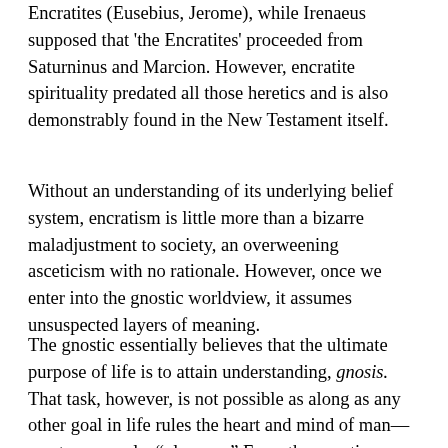Encratites (Eusebius, Jerome), while Irenaeus supposed that 'the Encratites' proceeded from Saturninus and Marcion. However, encratite spirituality predated all those heretics and is also demonstrably found in the New Testament itself.
Without an understanding of its underlying belief system, encratism is little more than a bizarre maladjustment to society, an overweening asceticism with no rationale. However, once we enter into the gnostic worldview, it assumes unsuspected layers of meaning.
The gnostic essentially believes that the ultimate purpose of life is to attain understanding, gnosis. That task, however, is not possible as along as any other goal in life rules the heart and mind of man—most commonly, "pleasure." From the gnostic perspective, pleasure in all its forms seduces man (and woman) away from the true